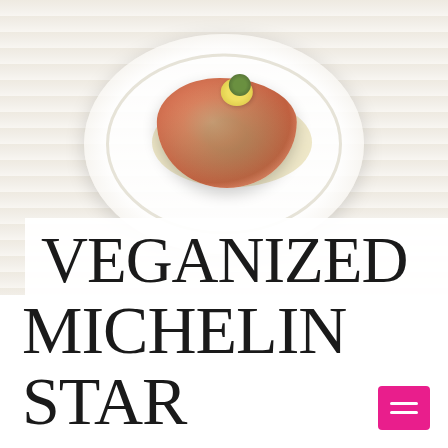[Figure (photo): A plated salmon tartare or similar seafood dish on a white decorative plate, garnished with lemon slices, capers, and fresh herbs with olive oil sauce, placed on a light wood surface]
VEGANIZED MICHELIN STAR CHEF ERICK JACQUIN'S